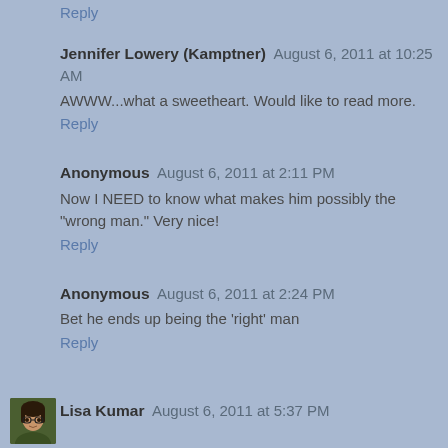Reply
Jennifer Lowery (Kamptner) August 6, 2011 at 10:25 AM
AWWW...what a sweetheart. Would like to read more.
Reply
Anonymous August 6, 2011 at 2:11 PM
Now I NEED to know what makes him possibly the "wrong man." Very nice!
Reply
Anonymous August 6, 2011 at 2:24 PM
Bet he ends up being the 'right' man
Reply
Lisa Kumar August 6, 2011 at 5:37 PM